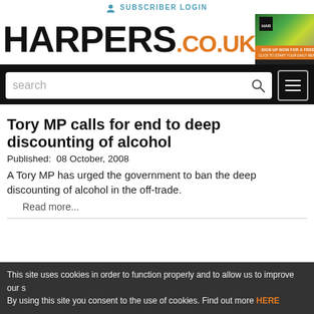SUBSCRIBER LOGIN
[Figure (logo): HARPERS.CO.UK logo with HARPERS in black bold and .CO.UK in orange]
[Figure (screenshot): Advertisement banner: SIGN UP NOW FOR A FREE TRIAL]
[Figure (screenshot): Navigation bar with search box and hamburger menu]
Tory MP calls for end to deep discounting of alcohol
Published:  08 October, 2008
A Tory MP has urged the government to ban the deep discounting of alcohol in the off-trade.
Read more...
This site uses cookies in order to function properly and to allow us to improve our s By using this site you consent to the use of cookies. Find out more HERE